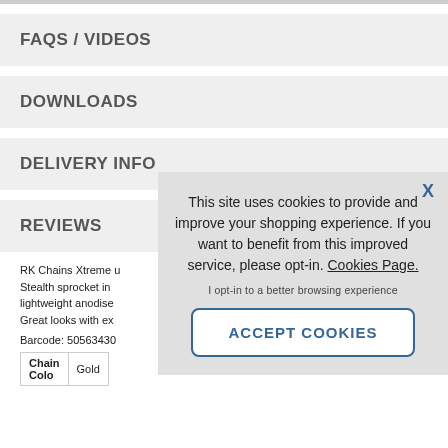FAQS / VIDEOS
DOWNLOADS
DELIVERY INFO
REVIEWS
RK Chains Xtreme u Stealth sprocket in lightweight anodise Great looks with ex
Barcode: 50563430
| Chain | Colo |
| --- | --- |
|  | Gold |
This site uses cookies to provide and improve your shopping experience. If you want to benefit from this improved service, please opt-in. Cookies Page.

I opt-in to a better browsing experience
ACCEPT COOKIES